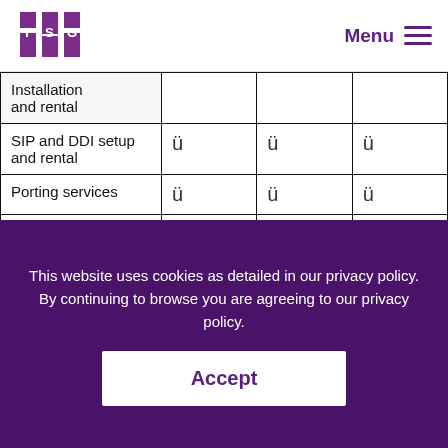TSG | Menu
|  |  |  |  |
| --- | --- | --- | --- |
| Installation and rental |  |  |  |
| SIP and DDI setup and rental | ü | ü | ü |
| Porting services | ü | ü | ü |
| Hosted |  |  |  |
This website uses cookies as detailed in our privacy policy. By continuing to browse you are agreeing to our privacy policy.
Accept